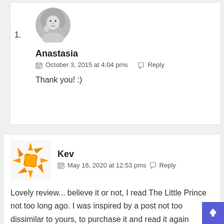1.
[Figure (photo): Black and white circular avatar photo of Anastasia]
Anastasia
October 3, 2015 at 4:04 pms   Reply
Thank you! :)
[Figure (logo): Orange snowflake/asterisk style square avatar for Kev]
Kev
May 16, 2020 at 12:53 pms   Reply
Lovely review... believe it or not, I read The Little Prince not too long ago. I was inspired by a post not too dissimilar to yours, to purchase it and read it again having only ever read it in my childhood years. :)